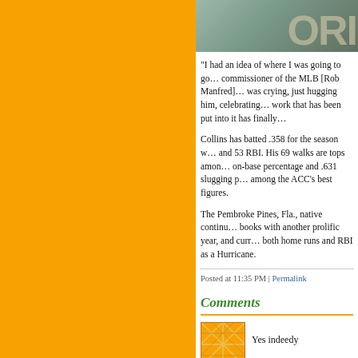[Figure (photo): Partial photo of a medallion or seal with text 'LOR...' visible, shown at the top of the right content panel]
“I had an idea of where I was going to go… commissioner of the MLB [Rob Manfred]… was crying, just hugging him, celebrating… work that has been put into it has finally…
Collins has batted .358 for the season w… and 53 RBI. His 69 walks are tops amon… on-base percentage and .631 slugging p… among the ACC’s best figures.
The Pembroke Pines, Fla., native continu… books with another prolific year, and curr… both home runs and RBI as a Hurricane.
Posted at 11:35 PM | Permalink
Comments
Yes indeedy